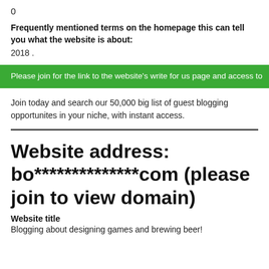0
Frequently mentioned terms on the homepage this can tell you what the website is about:
2018 .
Please join for the link to the website's write for us page and access to
Join today and search our 50,000 big list of guest blogging opportunites in your niche, with instant access.
Website address: bo**************com (please join to view domain)
Website title
Blogging about designing games and brewing beer!